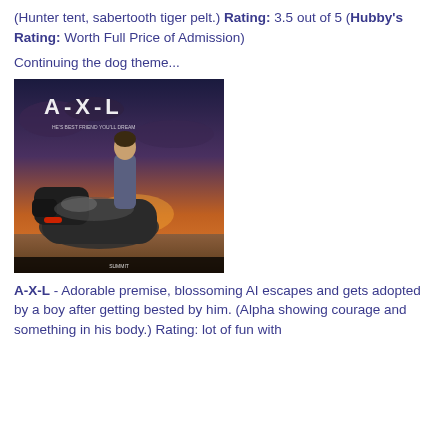(Hunter tent, sabertooth tiger pelt.) Rating: 3.5 out of 5 (Hubby's Rating: Worth Full Price of Admission)
Continuing the dog theme...
[Figure (photo): Movie poster for A-X-L featuring a young man leaning on a large robotic dog against a dramatic sunset sky.]
A-X-L - Adorable premise, blossoming AI escapes and gets adopted by a boy after getting bested by him. (Alpha showing courage and something in his body.) Rating: lot of fun with...